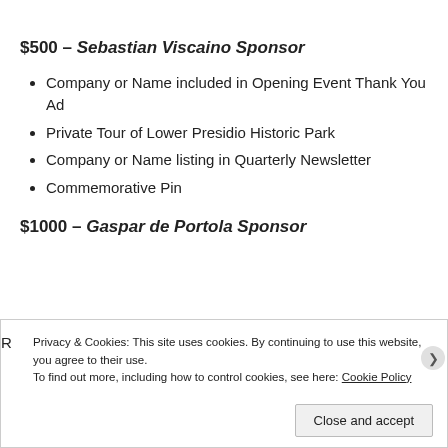$500 – Sebastian Viscaino Sponsor
Company or Name included in Opening Event Thank You Ad
Private Tour of Lower Presidio Historic Park
Company or Name listing in Quarterly Newsletter
Commemorative Pin
$1000 – Gaspar de Portola Sponsor
Privacy & Cookies: This site uses cookies. By continuing to use this website, you agree to their use.
To find out more, including how to control cookies, see here: Cookie Policy
Close and accept